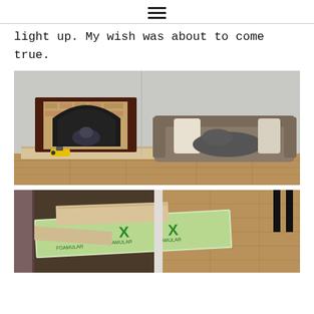☰ (hamburger menu icon)
light up. My wish was about to come true.
[Figure (photo): Living room with a corner fireplace insert (dark wood surround with arched front, brick-look surround), sitting on a new light wood platform. A yellow cordless drill is visible on the platform. To the right is a grey upholstered sofa with white pillows and a grey cat lying on it. Light grey walls and hardwood floor.]
[Figure (photo): Close-up of wood framing pieces and green foam insulation boards (XPS foam, branded with green X logo) laid on a carpet/area rug floor. Partial view of the room and a black furniture leg visible in the background right.]